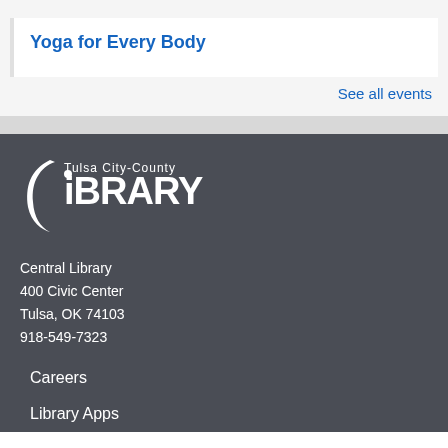Yoga for Every Body
See all events
[Figure (logo): Tulsa City-County Library logo in white on dark background]
Central Library
400 Civic Center
Tulsa, OK 74103
918-549-7323
Careers
Library Apps